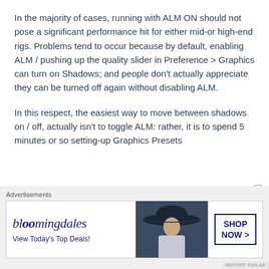In the majority of cases, running with ALM ON should not pose a significant performance hit for either mid-or high-end rigs. Problems tend to occur because by default, enabling ALM / pushing up the quality slider in Preference > Graphics can turn on Shadows; and people don't actually appreciate they can be turned off again without disabling ALM.
In this respect, the easiest way to move between shadows on / off, actually isn't to toggle ALM: rather, it is to spend 5 minutes or so setting-up Graphics Presets
Advertisements
[Figure (other): Bloomingdale's advertisement banner showing logo, 'View Today's Top Deals!' text, a woman wearing a large dark hat, and a 'SHOP NOW >' button.]